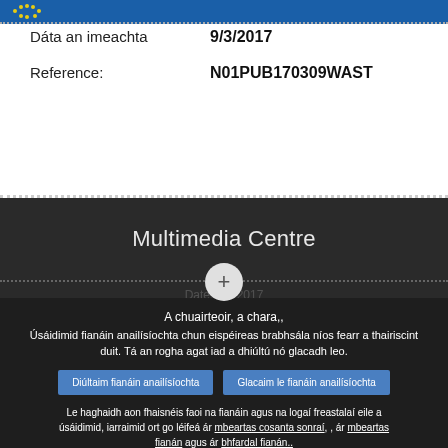EU Parliament header bar
Dáta an imeachta   9/3/2017
Reference:   N01PUB170309WAST
Multimedia Centre
A chuairteoir, a chara,, Úsáidimid fianáin anailísíochta chun eispéireas brabhsála níos fearr a thairiscint duit. Tá an rogha agat iad a dhiúltú nó glacadh leo.
Diúltaim fianáin anailísíochta
Glacaim le fianáin anailísíochta
Le haghaidh aon fhaisnéis faoi na fianáin agus na logaí freastalaí eile a úsáidimid, iarraimid ort go léifeá ár mbeartas cosanta sonraí, , ár mbeartas fianán agus ár bhfardal fianán..